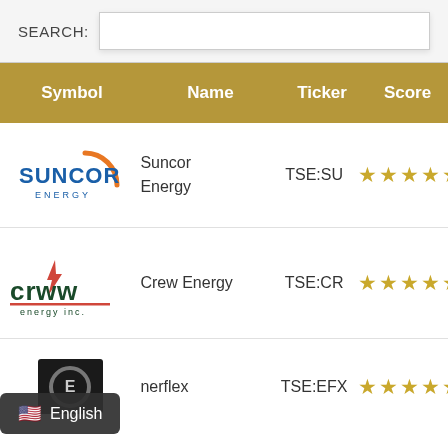| Symbol | Name | Ticker | Score |
| --- | --- | --- | --- |
| [Suncor Energy logo] | Suncor Energy | TSE:SU | ★★★★★ |
| [Crew Energy logo] | Crew Energy | TSE:CR | ★★★★★ |
| [Enerflex logo] | nerflex | TSE:EFX | ★★★★★ |